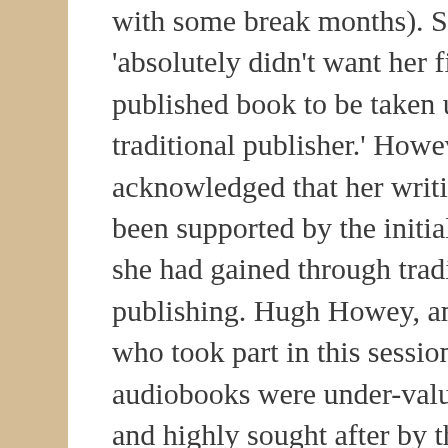with some break months). She said that she 'absolutely didn't want her first self-published book to be taken up by a traditional publisher.' However, she acknowledged that her writing career had been supported by the initial successes that she had gained through traditional publishing. Hugh Howey, another author who took part in this session, said that audiobooks were under-valued by authors and highly sought after by the reading public. Having spotted this, he has ensured that all of his books are available in audio